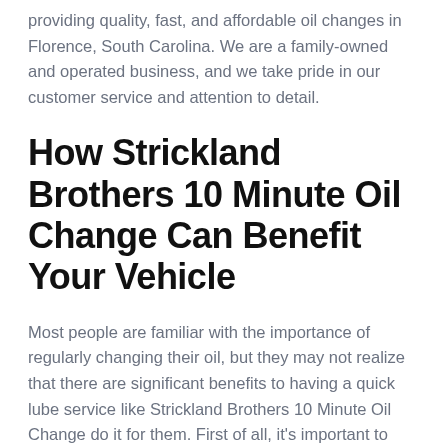providing quality, fast, and affordable oil changes in Florence, South Carolina. We are a family-owned and operated business, and we take pride in our customer service and attention to detail.
How Strickland Brothers 10 Minute Oil Change Can Benefit Your Vehicle
Most people are familiar with the importance of regularly changing their oil, but they may not realize that there are significant benefits to having a quick lube service like Strickland Brothers 10 Minute Oil Change do it for them. First of all, it's important to have your oil changed by a professional in order to ensure that it's done properly and that the correct